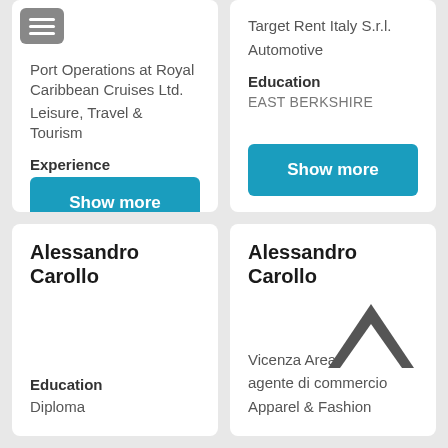Port Operations at Royal Caribbean Cruises Ltd.
Leisure, Travel & Tourism
Experience
Show more
Target Rent Italy S.r.l.
Automotive
Education
EAST BERKSHIRE
Show more
Alessandro Carollo
Education
Diploma
Alessandro Carollo
Vicenza Area, Italy
agente di commercio
Apparel & Fashion